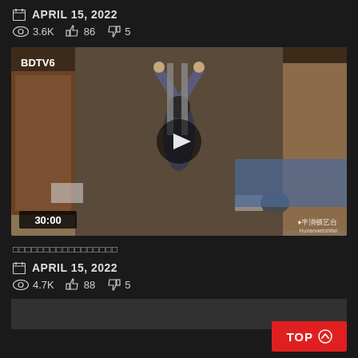APRIL 15, 2022 | 3.6K views | 86 likes | 5 dislikes
[Figure (screenshot): Video thumbnail showing a person in a room with arms raised, bound, overhead view from BDTV6 channel. Duration shown as 30:00. Watermark in Chinese characters bottom right.]
□□□□□□□□□□□□□□□□□
APRIL 15, 2022
4.7K  88  5
[Figure (screenshot): Partial preview of another video thumbnail at the bottom of the page]